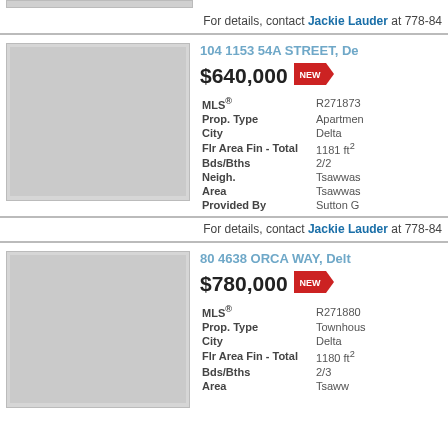[Figure (photo): Property photo placeholder for 104 1153 54A Street (top, partially visible)]
For details, contact Jackie Lauder at 778-84...
104 1153 54A STREET, De...
$640,000 NEW
| Field | Value |
| --- | --- |
| MLS® | R271873... |
| Prop. Type | Apartmen... |
| City | Delta |
| Flr Area Fin - Total | 1181 ft² |
| Bds/Bths | 2/2 |
| Neigh. | Tsawwas... |
| Area | Tsawwas... |
| Provided By | Sutton Gr... |
For details, contact Jackie Lauder at 778-84...
80 4638 ORCA WAY, Delt...
$780,000 NEW
[Figure (photo): Property photo placeholder for 80 4638 Orca Way]
| Field | Value |
| --- | --- |
| MLS® | R271880... |
| Prop. Type | Townhous... |
| City | Delta |
| Flr Area Fin - Total | 1180 ft² |
| Bds/Bths | 2/3 |
| Area | Tsaww... |